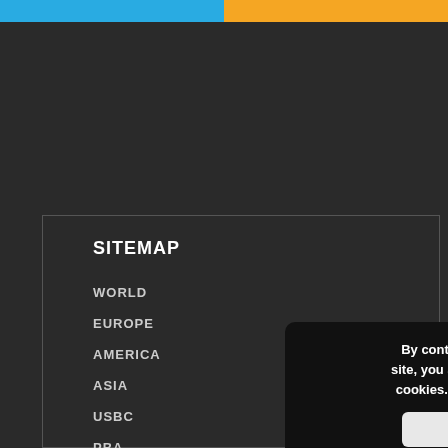SITEMAP
WORLD
EUROPE
AMERICA
ASIA
USBC
PBA
By continuing to use the site, you agree to the use of cookies. more information
Accept